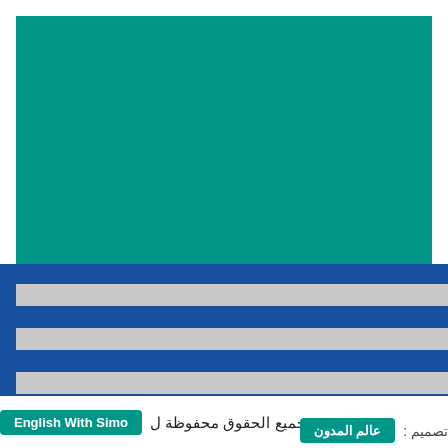[Figure (illustration): Large teal/green rectangular block occupying the upper portion of the page, with a blue section below containing three horizontal grey stripes.]
جميع الحقوق محفوظة ل English With Simo
تصميم : عالم المدون